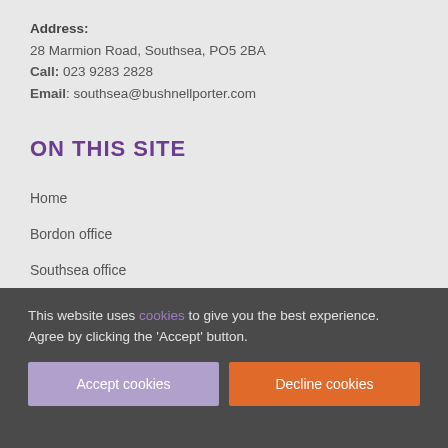Address: 28 Marmion Road, Southsea, PO5 2BA
Call: 023 9283 2828
Email: southsea@bushnellporter.com
ON THIS SITE
Home
Bordon office
Southsea office
This website uses cookies to give you the best experience. Agree by clicking the 'Accept' button.
Accept cookies
Decline cookies